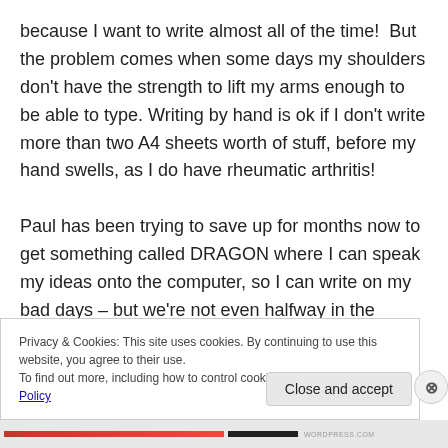because I want to write almost all of the time!  But the problem comes when some days my shoulders don't have the strength to lift my arms enough to be able to type. Writing by hand is ok if I don't write more than two A4 sheets worth of stuff, before my hand swells, as I do have rheumatic arthritis!

Paul has been trying to save up for months now to get something called DRAGON where I can speak my ideas onto the computer, so I can write on my bad days – but we're not even halfway in the savings for that yet – not to
Privacy & Cookies: This site uses cookies. By continuing to use this website, you agree to their use.
To find out more, including how to control cookies, see here: Cookie Policy